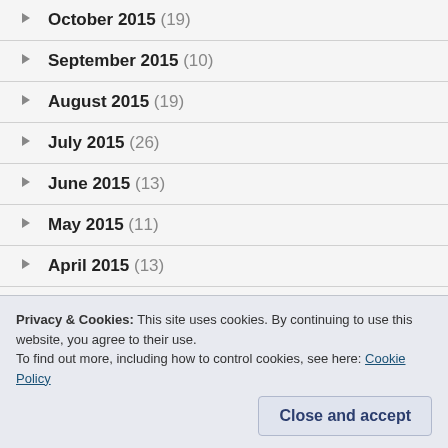October 2015 (19)
September 2015 (10)
August 2015 (19)
July 2015 (26)
June 2015 (13)
May 2015 (11)
April 2015 (13)
March 2015 (21)
Privacy & Cookies: This site uses cookies. By continuing to use this website, you agree to their use.
To find out more, including how to control cookies, see here: Cookie Policy
Close and accept